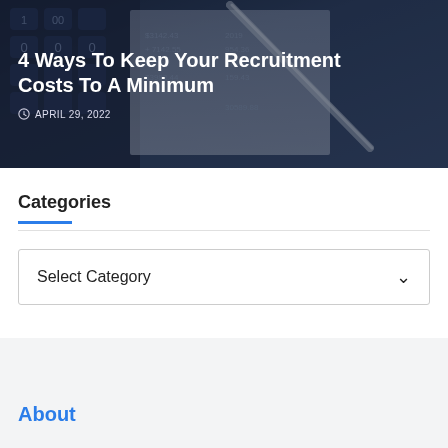[Figure (photo): Hero image of a calculator and financial documents with a pen, in dark blue-grey tones, with overlaid text showing article title and date.]
4 Ways To Keep Your Recruitment Costs To A Minimum
APRIL 29, 2022
Categories
Select Category
About